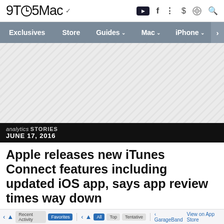9TO5Mac
Exclusives | Store | Guides | Mac | iPhone | Wa
[Figure (other): Advertisement placeholder with diagonal stripe pattern]
analytics STORIES
JUNE 17, 2016
Apple releases new iTunes Connect features including updated iOS app, says app review times way down
Jordan Kahn · Jun. 17th 2016 2:37 pm PT @JordanKahn
IOS DEVICES
APP STORE
UPDATE
SALES
Recent Activity | Favorites | All | Top | Tentative | GarageBand | View on App Store